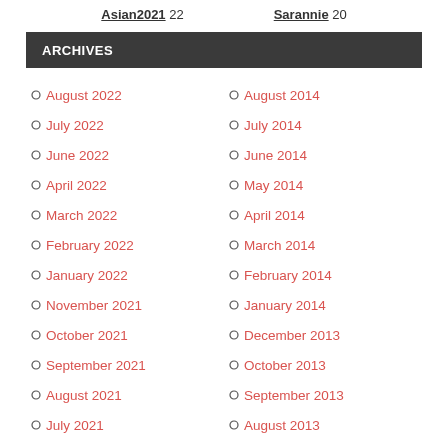Asian2021 22   Sarannie 20
ARCHIVES
August 2022
July 2022
June 2022
April 2022
March 2022
February 2022
January 2022
November 2021
October 2021
September 2021
August 2021
July 2021
May 2021
August 2014
July 2014
June 2014
May 2014
April 2014
March 2014
February 2014
January 2014
December 2013
October 2013
September 2013
August 2013
July 2013